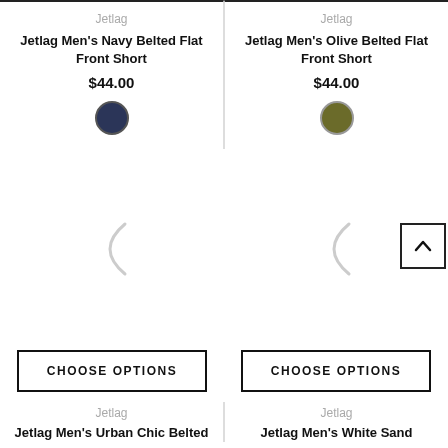Jetlag
Jetlag Men's Navy Belted Flat Front Short
$44.00
[Figure (other): Navy color swatch circle]
Jetlag
Jetlag Men's Olive Belted Flat Front Short
$44.00
[Figure (other): Olive color swatch circle]
[Figure (other): Loading spinner arc left column]
[Figure (other): Loading spinner arc right column]
CHOOSE OPTIONS
CHOOSE OPTIONS
Jetlag
Jetlag Men's Urban Chic Belted
Jetlag
Jetlag Men's White Sand